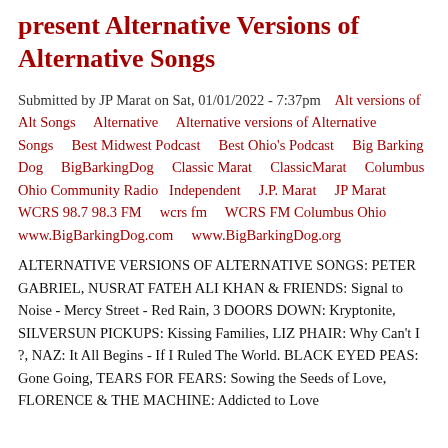present Alternative Versions of Alternative Songs
Submitted by JP Marat on Sat, 01/01/2022 - 7:37pm   Alt versions of Alt Songs     Alternative     Alternative versions of Alternative Songs     Best Midwest Podcast     Best Ohio's Podcast     Big Barking Dog     BigBarkingDog     Classic Marat     ClassicMarat     Columbus Ohio Community Radio   Independent     J.P. Marat     JP Marat     WCRS 98.7 98.3 FM     wcrs fm     WCRS FM Columbus Ohio   www.BigBarkingDog.com     www.BigBarkingDog.org
ALTERNATIVE VERSIONS OF ALTERNATIVE SONGS: PETER GABRIEL, NUSRAT FATEH ALI KHAN & FRIENDS: Signal to Noise - Mercy Street - Red Rain, 3 DOORS DOWN: Kryptonite, SILVERSUN PICKUPS: Kissing Families, LIZ PHAIR: Why Can't I ?, NAZ: It All Begins - If I Ruled The World. BLACK EYED PEAS: Gone Going, TEARS FOR FEARS: Sowing the Seeds of Love, FLORENCE & THE MACHINE: Addicted to Love